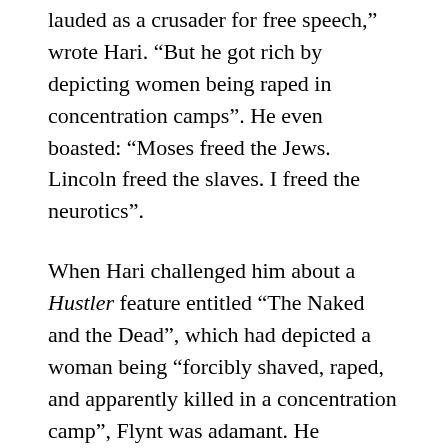lauded as a crusader for free speech,” wrote Hari. “But he got rich by depicting women being raped in concentration camps”. He even boasted: “Moses freed the Jews. Lincoln freed the slaves. I freed the neurotics”.
When Hari challenged him about a Hustler feature entitled “The Naked and the Dead”, which had depicted a woman being “forcibly shaved, raped, and apparently killed in a concentration camp”, Flynt was adamant. He responded: “That is satire. That’s what I went to the United States Supreme Court for. It was a landmark judgment. It was a unanimous decision. Supreme Court Justice William Rehnquist, one of the most conservative justices, said sometimes things are done under the name of the